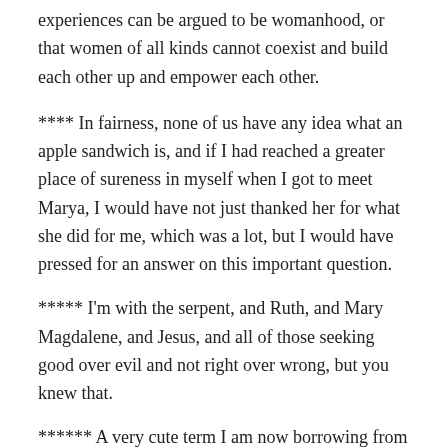experiences can be argued to be womanhood, or that women of all kinds cannot coexist and build each other up and empower each other.
**** In fairness, none of us have any idea what an apple sandwich is, and if I had reached a greater place of sureness in myself when I got to meet Marya, I would have not just thanked her for what she did for me, which was a lot, but I would have pressed for an answer on this important question.
***** I'm with the serpent, and Ruth, and Mary Magdalene, and Jesus, and all of those seeking good over evil and not right over wrong, but you knew that.
****** A very cute term I am now borrowing from Kinky Boots.